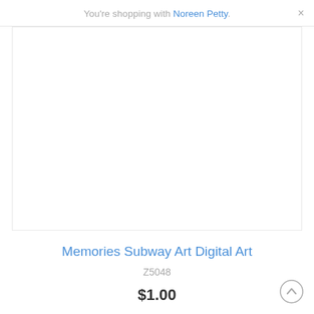You're shopping with Noreen Petty.
[Figure (photo): Product image area — white/blank product preview box for Memories Subway Art Digital Art]
Memories Subway Art Digital Art
Z5048
$1.00